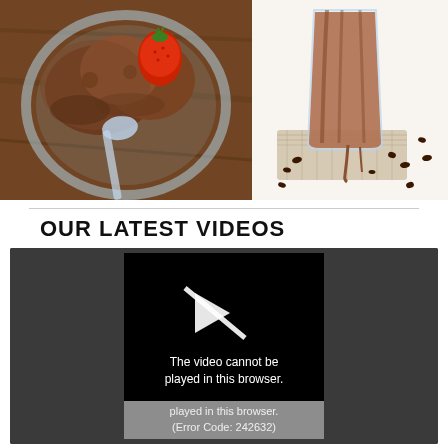[Figure (photo): Two food photos side by side: left photo shows chocolate ice cream with a strawberry in a glass bowl viewed from above; right photo shows a chocolate milkshake or smoothie in a tall glass on a burlap cloth with chocolate chips scattered around on a white background.]
OUR LATEST VIDEOS
[Figure (screenshot): Video player showing an error state with a play button icon (crossed out/disabled) and error message: 'The video cannot be played in this browser. (Error Code: 242632)' on a dark/black background with a gray reflection area below.]